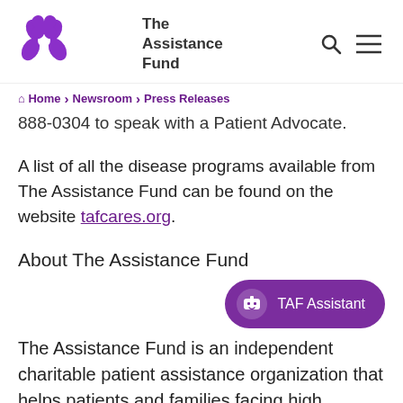The Assistance Fund
Home › Newsroom › Press Releases
888-0304 to speak with a Patient Advocate.
A list of all the disease programs available from The Assistance Fund can be found on the website tafcares.org.
About The Assistance Fund
[Figure (other): TAF Assistant chatbot button widget]
The Assistance Fund is an independent charitable patient assistance organization that helps patients and families facing high medical